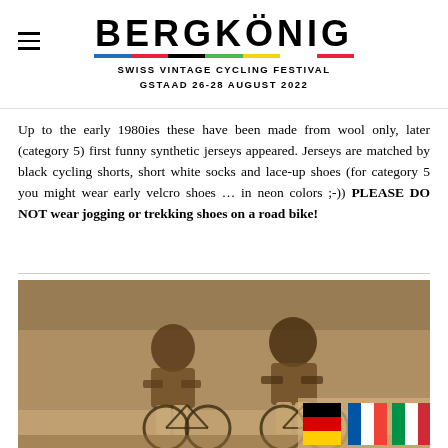BERGKÖNIG — SWISS VINTAGE CYCLING FESTIVAL GSTAAD 26-28 AUGUST 2022
Up to the early 1980ies these have been made from wool only, later (category 5) first funny synthetic jerseys appeared. Jerseys are matched by black cycling shorts, short white socks and lace-up shoes (for category 5 you might wear early velcro shoes … in neon colors ;-)) PLEASE DO NOT wear jogging or trekking shoes on a road bike!
[Figure (photo): Vintage sepia photograph of two men riding bicycles side by side, wearing short-sleeved jerseys and light-colored trousers.]